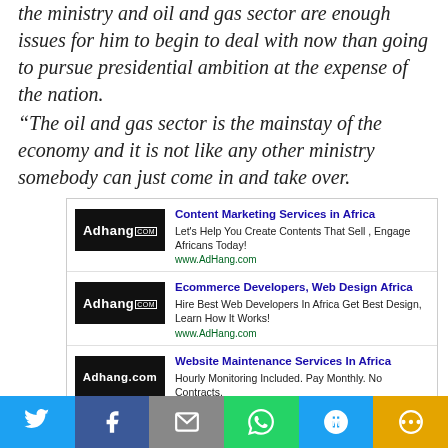the ministry and oil and gas sector are enough issues for him to begin to deal with now than going to pursue presidential ambition at the expense of the nation.
“The oil and gas sector is the mainstay of the economy and it is not like any other ministry somebody can just come in and take over.
[Figure (other): Advertisement block with three Adhang.com ads: 1) Content Marketing Services in Africa - Let's Help You Create Contents That Sell, Engage Africans Today! www.AdHang.com; 2) Ecommerce Developers, Web Design Africa - Hire Best Web Developers In Africa Get Best Design, Learn How It Works! www.AdHang.com; 3) Website Maintenance Services In Africa - Hourly Monitoring Included. Pay Monthly. No Contracts. www.AdHang.com]
[Figure (other): Social media sharing bar with Twitter, Facebook, Email, WhatsApp, SMS, and More buttons]